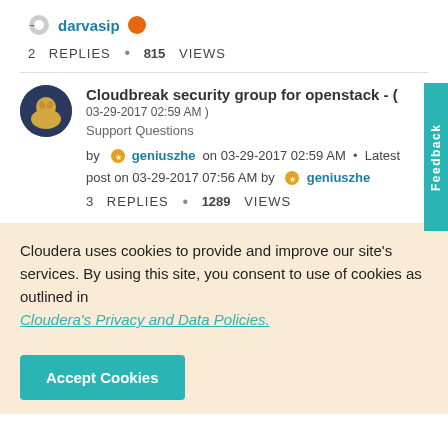darvasip
2 REPLIES • 815 VIEWS
Cloudbreak security group for openstack - ( 03-29-2017 02:59 AM )
Support Questions
by geniuszhe on 03-29-2017 02:59 AM • Latest post on 03-29-2017 07:56 AM by geniuszhe
3 REPLIES • 1289 VIEWS
Cloudera uses cookies to provide and improve our site's services. By using this site, you consent to use of cookies as outlined in Cloudera's Privacy and Data Policies.
Accept Cookies